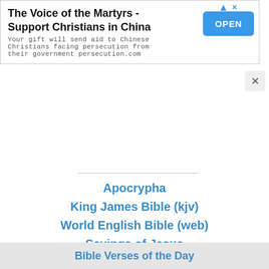[Figure (screenshot): Advertisement banner for 'The Voice of the Martyrs - Support Christians in China' with an OPEN button]
×
Apocrypha
King James Bible (kjv)
World English Bible (web)
Sayings of Jesus
God is Love
Bible Verses of the Day